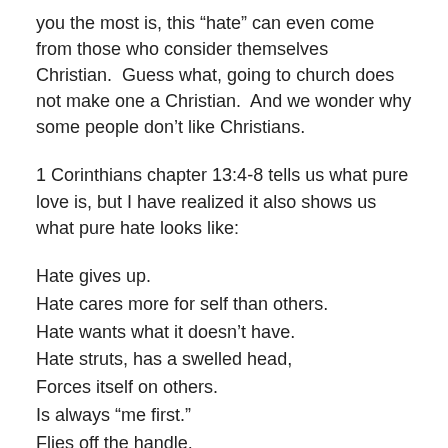you the most is, this “hate” can even come from those who consider themselves Christian.  Guess what, going to church does not make one a Christian.  And we wonder why some people don’t like Christians.
1 Corinthians chapter 13:4-8 tells us what pure love is, but I have realized it also shows us what pure hate looks like:
Hate gives up.
Hate cares more for self than others.
Hate wants what it doesn’t have.
Hate struts, has a swelled head,
Forces itself on others.
Is always “me first.”
Flies off the handle.